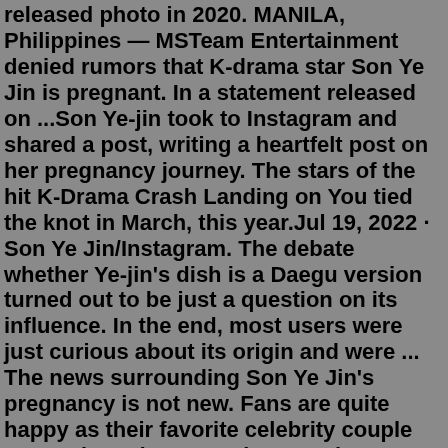released photo in 2020. MANILA, Philippines — MSTeam Entertainment denied rumors that K-drama star Son Ye Jin is pregnant. In a statement released on ...Son Ye-jin took to Instagram and shared a post, writing a heartfelt post on her pregnancy journey. The stars of the hit K-Drama Crash Landing on You tied the knot in March, this year.Jul 19, 2022 · Son Ye Jin/Instagram. The debate whether Ye-jin's dish is a Daegu version turned out to be just a question on its influence. In the end, most users were just curious about its origin and were ... The news surrounding Son Ye Jin's pregnancy is not new. Fans are quite happy as their favorite celebrity couple Hyun Bin and Son Ye Jin are going to enjoy parenthood for the first time.. Soon-to-be-mother Son Ye Jin has recently been portrayed with her baby bump on the cover of a fashion Luxury magazine, in which she looks absolutely beautiful, gorgeous and stylish as always.Son Ye Jin, ilişkisinden bahsetti. 1 Ocak'ta oyuncunun, 'Crash Landing on You' rol arkadaşı Hyun Bin ile romantik bir ilişki içinde olduğu